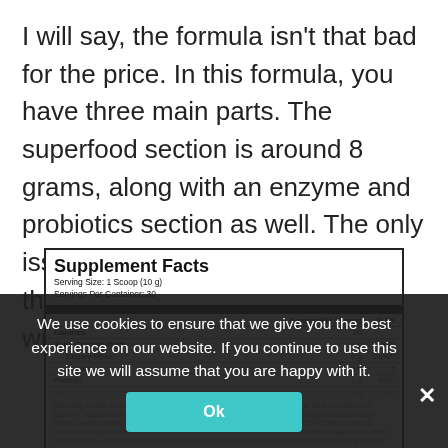I will say, the formula isn't that bad for the price. In this formula, you have three main parts. The superfood section is around 8 grams, along with an enzyme and probiotics section as well. The only issue I have is that they don't list the amount of each ingredient within the blends.
|  | Amount Per Serving | % DV |
| --- | --- | --- |
| Calories | 20 |  |
| Total Carbohydrate | 7 g | 2%** |
| Dietary Fiber | 6 g | 24%** |
| Sugars | 0 g | † |
| Protein | 1 g | 0%** |
| Iron | 1 mg | 6%** |
(spinulina), organic beet, organic agave inulin, organic Jerusalem artichoke inulin, organic oat fiber, organic red raspberry, organic strawberry, organic acai, organic cranberry, organic blueberry, organic apple, organic broccoli, organic spinach, organic green cabbage, organic parsley, organic pomegranate, organic fruit (Eulerpe oleracea), organic blackberry, organic tomato, organic black cherry, organic cherry, organic acerola extract, organic apple pectin, organic banana, organic flaxseed, organic mango, organic papaya, organic peach, organic plum, organic pineapple, organic watermelon
We use cookies to ensure that we give you the best experience on our website. If you continue to use this site we will assume that you are happy with it.